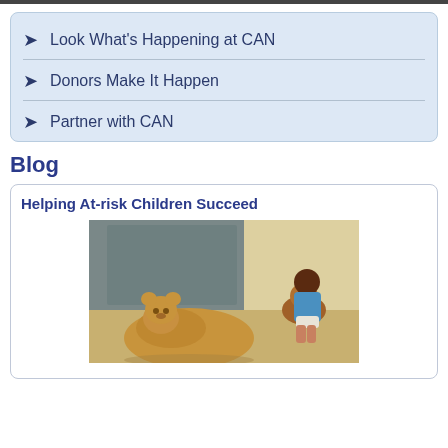Look What's Happening at CAN
Donors Make It Happen
Partner with CAN
Blog
Helping At-risk Children Succeed
[Figure (photo): A large teddy bear lying on a tiled floor in the foreground, with a small child sitting in a corner hugging another stuffed animal in the background, against a gray door/wall.]